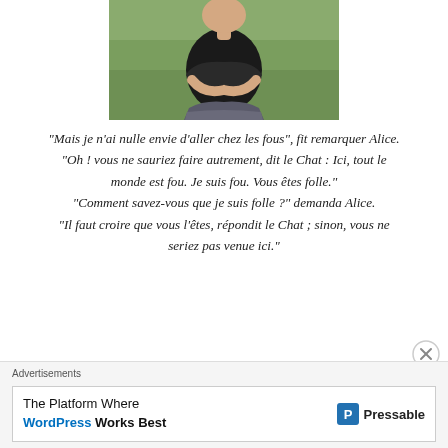[Figure (photo): Partial photo of a person in a black top with arms crossed, standing outdoors on grass, photo cropped at top]
“Mais je n’ai nulle envie d’aller chez les fous”, fit remarquer Alice. “Oh ! vous ne sauriez faire autrement, dit le Chat : Ici, tout le monde est fou. Je suis fou. Vous êtes folle.” “Comment savez-vous que je suis folle ?” demanda Alice. “Il faut croire que vous l’êtes, répondit le Chat ; sinon, vous ne seriez pas venue ici.”
-Alice au pays des merveilles
Advertisements
The Platform Where WordPress Works Best